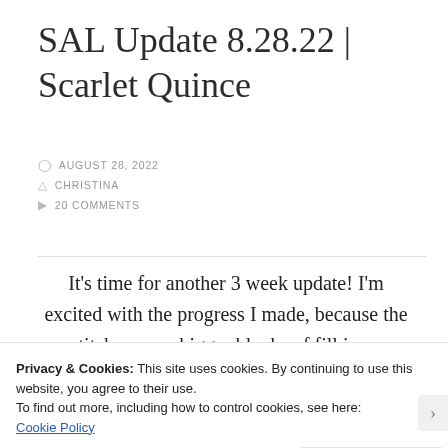SAL Update 8.28.22 | Scarlet Quince
AUGUST 28, 2022
CHRISTINA
20 COMMENTS
It’s time for another 3 week update! I’m excited with the progress I made, because the stitches were bigger blocks of fill in vs
Privacy & Cookies: This site uses cookies. By continuing to use this website, you agree to their use.
To find out more, including how to control cookies, see here:
Cookie Policy
Close and accept